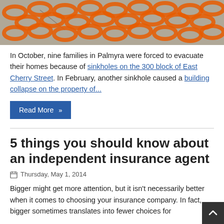[Figure (photo): Orange safety mesh/fence netting on concrete ground]
In October, nine families in Palmyra were forced to evacuate their homes because of sinkholes on the 300 block of East Cherry Street. In February, another sinkhole caused a building collapse on the property of...
Read More »
5 things you should know about an independent insurance agent
Thursday, May 1, 2014
Bigger might get more attention, but it isn't necessarily better when it comes to choosing your insurance company. In fact, bigger sometimes translates into fewer choices for...